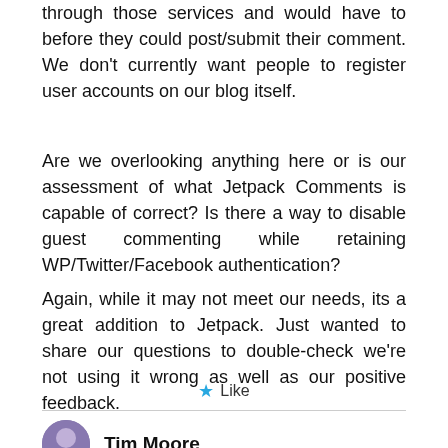through those services and would have to before they could post/submit their comment. We don't currently want people to register user accounts on our blog itself.
Are we overlooking anything here or is our assessment of what Jetpack Comments is capable of correct? Is there a way to disable guest commenting while retaining WP/Twitter/Facebook authentication?
Again, while it may not meet our needs, its a great addition to Jetpack. Just wanted to share our questions to double-check we're not using it wrong as well as our positive feedback.
★ Like
Tim Moore